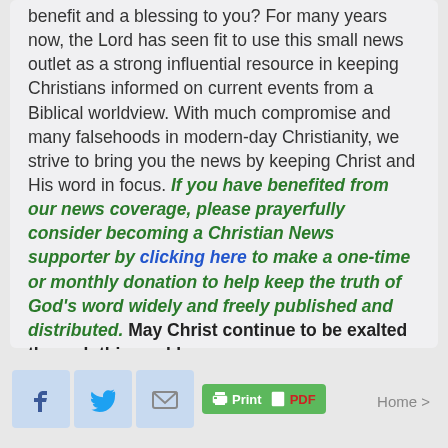benefit and a blessing to you? For many years now, the Lord has seen fit to use this small news outlet as a strong influential resource in keeping Christians informed on current events from a Biblical worldview. With much compromise and many falsehoods in modern-day Christianity, we strive to bring you the news by keeping Christ and His word in focus. If you have benefited from our news coverage, please prayerfully consider becoming a Christian News supporter by clicking here to make a one-time or monthly donation to help keep the truth of God's word widely and freely published and distributed. May Christ continue to be exalted through this work!
[Figure (other): Social sharing icons (Facebook, Twitter, email) and a green Print/PDF button in the page footer area, with a Home navigation link on the right]